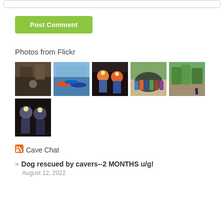[Figure (other): Post Comment button - green rounded rectangle with white bold text]
Photos from Flickr
[Figure (photo): Grid of 6 Flickr photos: cave explorer, kayakers on river, cavers with helmets, group of people at cave entrance, forested hillside with climber, two cavers underground]
[Figure (logo): RSS orange icon]
Cave Chat
Dog rescued by cavers--2 MONTHS u/g!
August 12, 2022